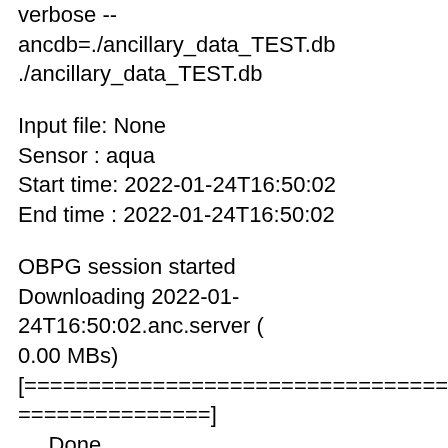verbose --ancdb=./ancillary_data_TEST.db ./ancillary_data_TEST.db
Input file: None
Sensor : aqua
Start time: 2022-01-24T16:50:02
End time : 2022-01-24T16:50:02
OBPG session started
Downloading 2022-01-24T16:50:02.anc.server (0.00 MBs)
[================================================]
...Done
Found:
/shares/cms_optics/apps/seadas/ocssw/T2021.24/var/anc/2022/024/N202202412_MET_NCEP